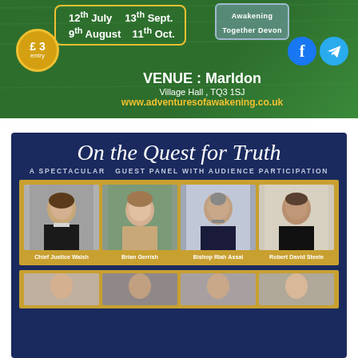[Figure (photo): Green grass background banner with event dates (12th July, 9th August, 13th Sept., 11th Oct.), £3 entry circle badge, VENUE: Marldon Village Hall TQ3 1SJ, website www.adventuresofawakening.co.uk, Awakening Together Devon label, Facebook and Telegram social icons]
[Figure (infographic): Dark navy blue poster titled 'On the Quest for Truth' in italic script, subtitle 'A SPECTACULAR GUEST PANEL WITH AUDIENCE PARTICIPATION', showing four panelists: Chief Justice Walsh, Brian Gerrish, Bishop Riah Assal, Robert David Steele, with a second row of four more panelists partially visible at bottom]